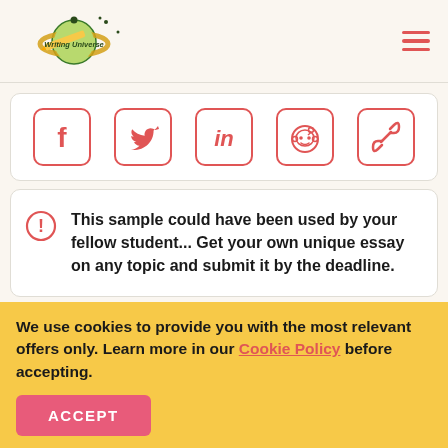[Figure (logo): Writing Universe planet logo with pencil and stars]
[Figure (infographic): Social share icons: Facebook, Twitter, LinkedIn, Reddit, Link/chain]
This sample could have been used by your fellow student... Get your own unique essay on any topic and submit it by the deadline.
We use cookies to provide you with the most relevant offers only. Learn more in our Cookie Policy before accepting.
ACCEPT